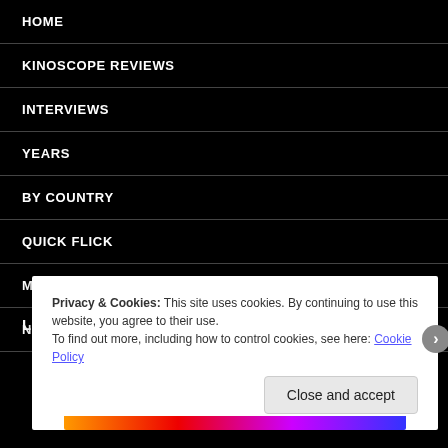HOME
KINOSCOPE REVIEWS
INTERVIEWS
YEARS
BY COUNTRY
QUICK FLICK
MY FAVOURITE SCENE
NOLLYWOOD
Privacy & Cookies: This site uses cookies. By continuing to use this website, you agree to their use.
To find out more, including how to control cookies, see here: Cookie Policy
Close and accept